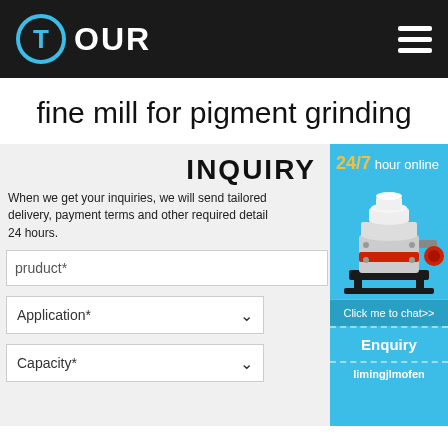T OUR
fine mill for pigment grinding
INQUIRY
When we get your inquiries, we will send tailored delivery, payment terms and other required detail 24 hours.
pruduct*
Application*
Capacity*
[Figure (photo): Industrial cone crusher machine, white and red colored, shown in sidebar widget]
24/7 hour online
Click me to chat>>
Enquiry
limingjlmofen